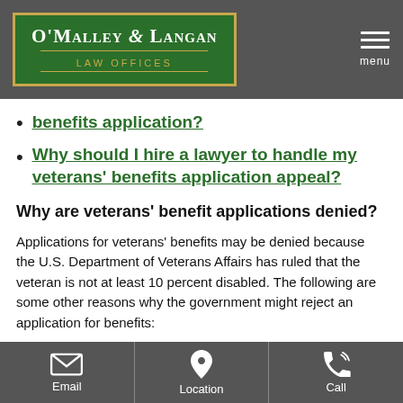[Figure (logo): O'Malley & Langan Law Offices logo on dark header bar with menu icon]
benefits application?
Why should I hire a lawyer to handle my veterans' benefits application appeal?
Why are veterans' benefit applications denied?
Applications for veterans' benefits may be denied because the U.S. Department of Veterans Affairs has ruled that the veteran is not at least 10 percent disabled. The following are some other reasons why the government might reject an application for benefits:
Incorrect or false information contained on
Email | Location | Call